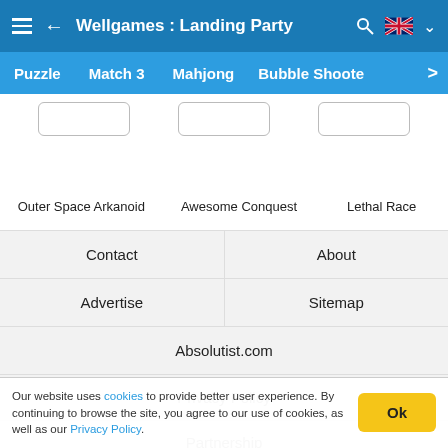Wellgames : Landing Party
Puzzle  Match 3  Mahjong  Bubble Shooter
[Figure (screenshot): Three game card placeholders (rounded rectangles) in a row]
Outer Space Arkanoid    Awesome Conquest    Lethal Race
| Contact | About |
| --- | --- |
| Advertise | Sitemap |
Absolutist.com
Privacy Policy
Partnership
Our website uses cookies to provide better user experience. By continuing to browse the site, you agree to our use of cookies, as well as our Privacy Policy.